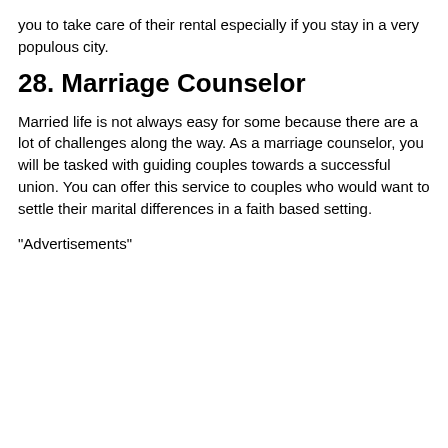you to take care of their rental especially if you stay in a very populous city.
28. Marriage Counselor
Married life is not always easy for some because there are a lot of challenges along the way. As a marriage counselor, you will be tasked with guiding couples towards a successful union. You can offer this service to couples who would want to settle their marital differences in a faith based setting.
"Advertisements"